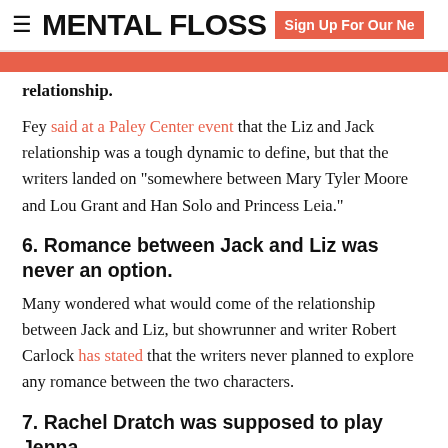MENTAL FLOSS | Sign Up For Our Ne
relationship.
Fey said at a Paley Center event that the Liz and Jack relationship was a tough dynamic to define, but that the writers landed on "somewhere between Mary Tyler Moore and Lou Grant and Han Solo and Princess Leia."
6. Romance between Jack and Liz was never an option.
Many wondered what would come of the relationship between Jack and Liz, but showrunner and writer Robert Carlock has stated that the writers never planned to explore any romance between the two characters.
7. Rachel Dratch was supposed to play Jenna.
[Figure (photo): Bottom strip showing a dark background with partial orange circular element visible on the left side]